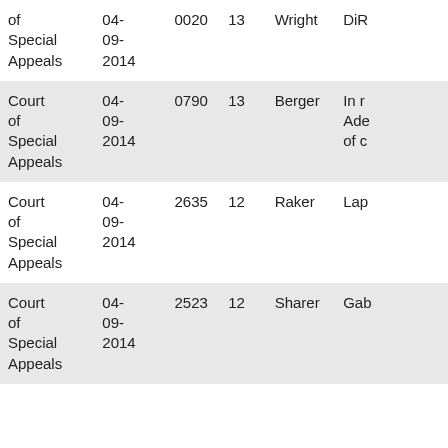| Court | Date | Case No. | Vol. | Judge | Case Name |
| --- | --- | --- | --- | --- | --- |
| Court of Special Appeals | 04-09-2014 | 0020 | 13 | Wright | DiR... |
| Court of Special Appeals | 04-09-2014 | 0790 | 13 | Berger | In r... Ade... of c... |
| Court of Special Appeals | 04-09-2014 | 2635 | 12 | Raker | Lap... |
| Court of Special Appeals | 04-09-2014 | 2523 | 12 | Sharer | Gab... |